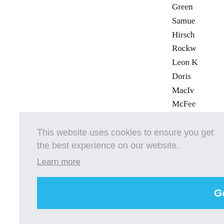Green
Samue
Hirsch
Rockw
Leon K
Doris
MacIv
McFee
Parson
Henry
Ribak,
Schna
Isaac S
Stella,
Frankl
Bacon
Hart, H
Board
Steven
José d
Glickm
Gaston
Robust
This website uses cookies to ensure you get the best experience on our website.
Learn more
Got it!